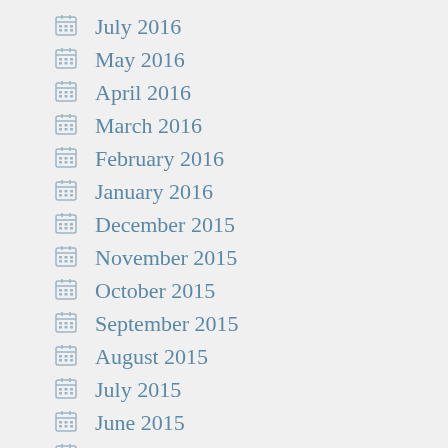July 2016
May 2016
April 2016
March 2016
February 2016
January 2016
December 2015
November 2015
October 2015
September 2015
August 2015
July 2015
June 2015
May 2015